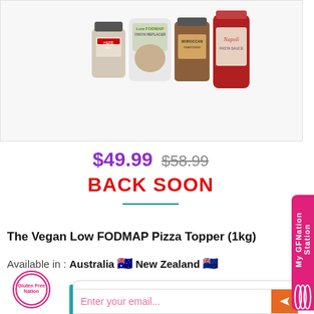[Figure (photo): Product photo showing gluten-free spice and sauce bottles: herb salt, low FODMAP onion replacer, Moroccan seasoning, and Napoli sauce]
$49.99 $58.99
BACK SOON
The Vegan Low FODMAP Pizza Topper (1kg)
Available in : Australia 🇦🇺 New Zealand 🇳🇿
GFNation
Hi there! Let us know if you have any questions 😊
Enter your email...